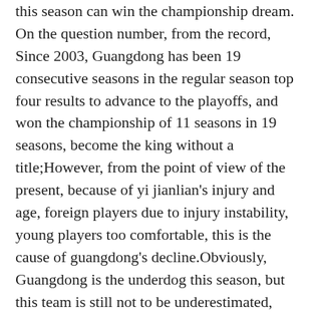this season can win the championship dream. On the question number, from the record, Since 2003, Guangdong has been 19 consecutive seasons in the regular season top four results to advance to the playoffs, and won the championship of 11 seasons in 19 seasons, become the king without a title;However, from the point of view of the present, because of yi jianlian's injury and age, foreign players due to injury instability, young players too comfortable, this is the cause of guangdong's decline.Obviously, Guangdong is the underdog this season, but this team is still not to be underestimated, after all, the championship heritage and tournament experience, this team is the most terrible place in the playoffs.This season, the performance of the liaoning men's basketball team has been very well, it's a pity because pg in the regular season games, to make Mr. Violations did not attend the conference after the game, the liaoning basket no gains in the regular season individual awards, it is also the CBA first